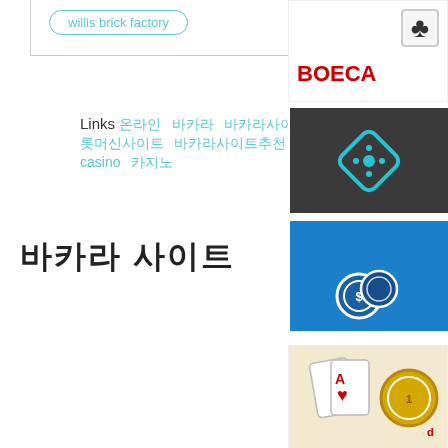willis brick factory
Links 온라인 바카라 바카라사이트 카지노사이트 슬롯머신사이트 바카라사이트추천 casino 카지노
바카라 사이트
[Figure (screenshot): Sidebar with BOECA casino logo, diamond gaming icon on dark background, blue casino chip icon, and a card game image]
[Figure (logo): BOECA casino logo with club card suit icon]
[Figure (logo): Diamond gaming logo on dark gray background]
[Figure (screenshot): Blue casino app icon with chips]
[Figure (photo): Casino card dealing image]